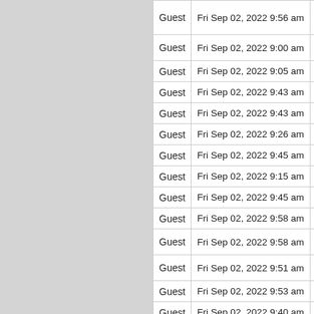| Guest | Date/Time | Link |
| --- | --- | --- |
| Guest | Fri Sep 02, 2022 9:56 am |  |
| Guest | Fri Sep 02, 2022 9:00 am |  |
| Guest | Fri Sep 02, 2022 9:05 am |  |
| Guest | Fri Sep 02, 2022 9:43 am |  |
| Guest | Fri Sep 02, 2022 9:43 am |  |
| Guest | Fri Sep 02, 2022 9:26 am |  |
| Guest | Fri Sep 02, 2022 9:45 am |  |
| Guest | Fri Sep 02, 2022 9:15 am |  |
| Guest | Fri Sep 02, 2022 9:45 am |  |
| Guest | Fri Sep 02, 2022 9:58 am |  |
| Guest | Fri Sep 02, 2022 9:58 am |  |
| Guest | Fri Sep 02, 2022 9:51 am |  |
| Guest | Fri Sep 02, 2022 9:53 am |  |
| Guest | Fri Sep 02, 2022 9:40 am |  |
| Guest | Fri Sep 02, 2022 9:41 am |  |